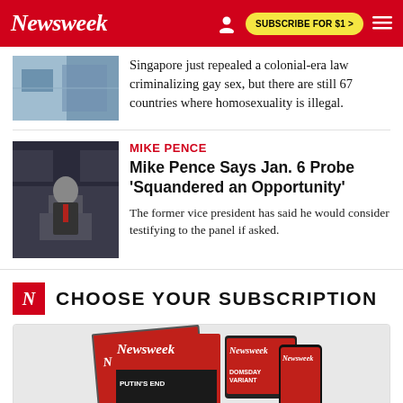Newsweek | SUBSCRIBE FOR $1 >
Singapore just repealed a colonial-era law criminalizing gay sex, but there are still 67 countries where homosexuality is illegal.
MIKE PENCE
Mike Pence Says Jan. 6 Probe 'Squandered an Opportunity'
The former vice president has said he would consider testifying to the panel if asked.
CHOOSE YOUR SUBSCRIPTION
[Figure (photo): Newsweek magazine covers and digital subscription options]